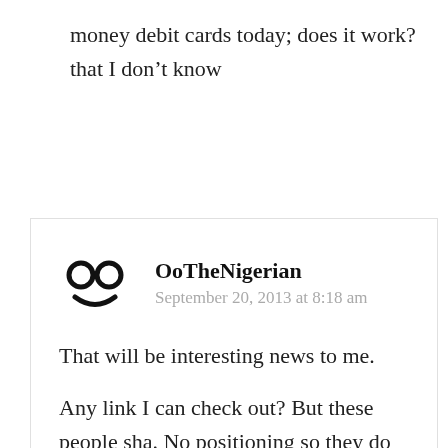money debit cards today; does it work? that I don't know
OoTheNigerian
September 20, 2013 at 8:18 am

That will be interesting news to me.

Any link I can check out? But these people sha. No positioning so they do not know the primary thing to market. Advertising is not what they need. Their marketing is very deficient. Oo Nwoye